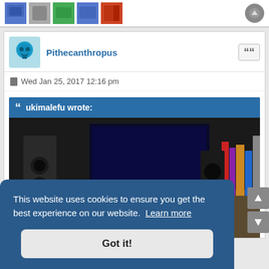[Figure (screenshot): Top bar with colored icon images and a scroll/settings button]
Pithecanthropus
Wed Jan 25, 2017 12:16 pm
ukimalefu wrote:
[Figure (photo): Photo of a computer desk setup with monitor, speakers, books and cables visible]
This website uses cookies to ensure you get the best experience on our website. Learn more
Got it!